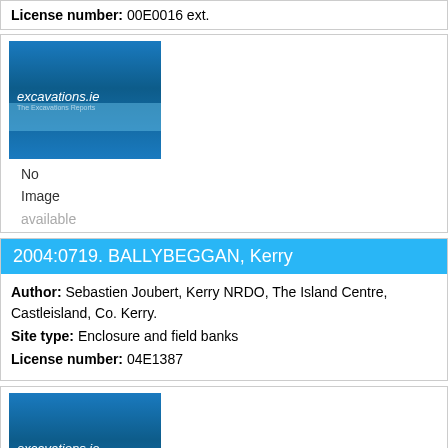License number: 00E0016 ext.
[Figure (logo): excavations.ie placeholder image with blue gradient background and logo text]
No
Image
available
2004:0719. BALLYBEGGAN, Kerry
Author: Sebastien Joubert, Kerry NRDO, The Island Centre, Castleisland, Co. Kerry.
Site type: Enclosure and field banks
License number: 04E1387
[Figure (logo): excavations.ie placeholder image with blue gradient background and logo text]
No